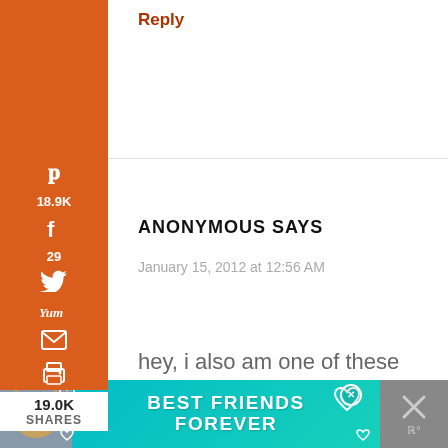Reply
ANONYMOUS SAYS
January 15, 2012 at 12:56 AM
hey, i also am one of these people who suffer from ulcerative colitis and is a little
[Figure (screenshot): Social sharing sidebar with Pinterest (18.9K), Facebook (29), Twitter, Yummly, Email, Print icons on orange background. Below sidebar: 19.0K SHARES label.]
[Figure (photo): Advertisement banner at bottom: teal background with cat photo, text BEST FRIENDS FOREVER in white bold uppercase, close button, and X button on right side]